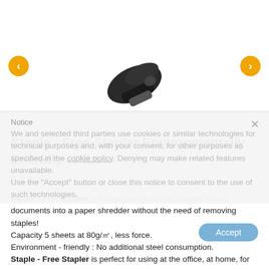[Figure (photo): Black staple-free stapler product photo on white background]
Staple - Free Stapler Environmentally Friendly - Plus
€11.80
Notice
We and selected third parties use cookies or similar technologies for technical purposes and, with your consent, for other purposes as specified in the cookie policy. Denying may make related features unavailable. Use the "Accept" button or close this notice to consent to the use of such technologies.
Staple - Free Stapler, clinching without using staples. Insert documents into a paper shredder without the need of removing staples! Capacity 5 sheets at 80g/㎡, less force. Environment - friendly : No additional steel consumption. Staple - Free Stapler is perfect for using at the office, at home, for